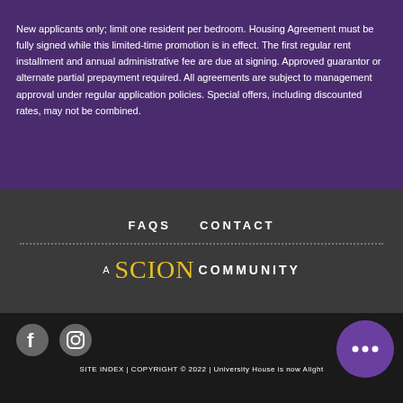New applicants only; limit one resident per bedroom. Housing Agreement must be fully signed while this limited-time promotion is in effect. The first regular rent installment and annual administrative fee are due at signing. Approved guarantor or alternate partial prepayment required. All agreements are subject to management approval under regular application policies. Special offers, including discounted rates, may not be combined.
FAQS   CONTACT
[Figure (logo): A SCION COMMUNITY logo in white and yellow text on dark gray background]
[Figure (illustration): Social media icons: Facebook and Instagram circles in gray, and a purple chat bubble button on right]
SITE INDEX | COPYRIGHT © 2022 | University House is now Alight